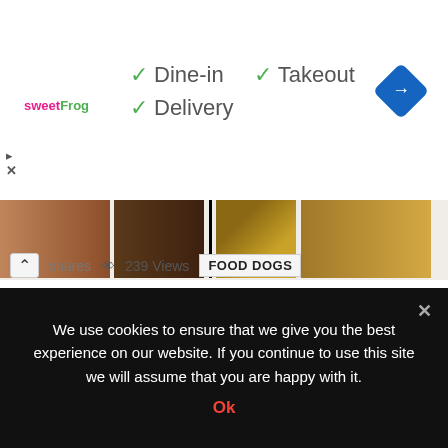[Figure (screenshot): SweetFrog advertisement banner showing Dine-in, Takeout, Delivery options with green checkmarks and a blue navigation diamond icon]
[Figure (photo): Horizontal image strip showing dog food related photos — dark food bowls and yellow/tan colored food items]
shares  239 Views  FOOD DOGS
22 Common Foods That Will Kill Your Dog
Advertisement 22 Common Foods That Will Kill Your Dog Most dog owners know it's not a great idea to feed dogs food from the dinner table, but from time to time a dog can eat some human food, when in fact this is irresponsible There are some foods dogs should never eat. 22 Common Foods [...]
We use cookies to ensure that we give you the best experience on our website. If you continue to use this site we will assume that you are happy with it. Ok